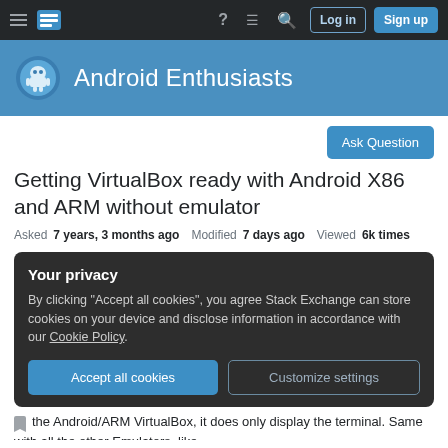Android Enthusiasts Stack Exchange — navigation bar
Android Enthusiasts
Ask Question
Getting VirtualBox ready with Android X86 and ARM without emulator
Asked 7 years, 3 months ago  Modified 7 days ago  Viewed 6k times
Your privacy
By clicking "Accept all cookies", you agree Stack Exchange can store cookies on your device and disclose information in accordance with our Cookie Policy.
Accept all cookies   Customize settings